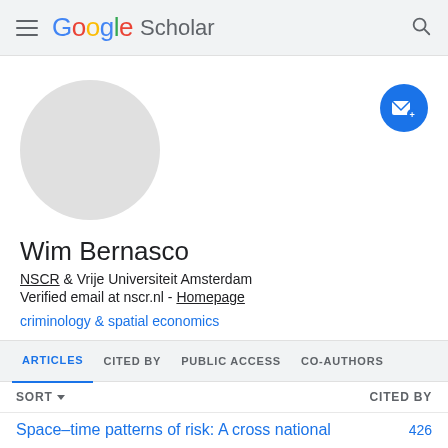Google Scholar
[Figure (illustration): Circular gray avatar placeholder image]
Wim Bernasco
NSCR & Vrije Universiteit Amsterdam
Verified email at nscr.nl - Homepage
criminology & spatial economics
ARTICLES  CITED BY  PUBLIC ACCESS  CO-AUTHORS
SORT ▾  CITED BY
Space–time patterns of risk: A cross national  426